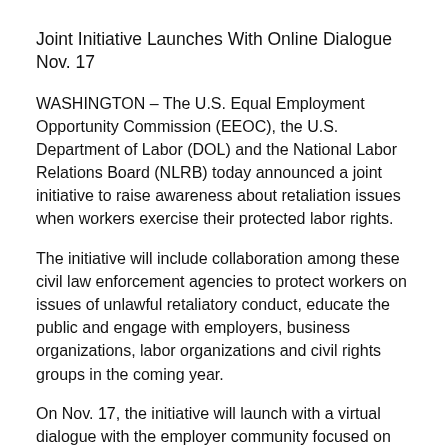Joint Initiative Launches With Online Dialogue Nov. 17
WASHINGTON – The U.S. Equal Employment Opportunity Commission (EEOC), the U.S. Department of Labor (DOL) and the National Labor Relations Board (NLRB) today announced a joint initiative to raise awareness about retaliation issues when workers exercise their protected labor rights.
The initiative will include collaboration among these civil law enforcement agencies to protect workers on issues of unlawful retaliatory conduct, educate the public and engage with employers, business organizations, labor organizations and civil rights groups in the coming year.
On Nov. 17, the initiative will launch with a virtual dialogue with the employer community focused on the importance of workers' anti-retaliation protections for